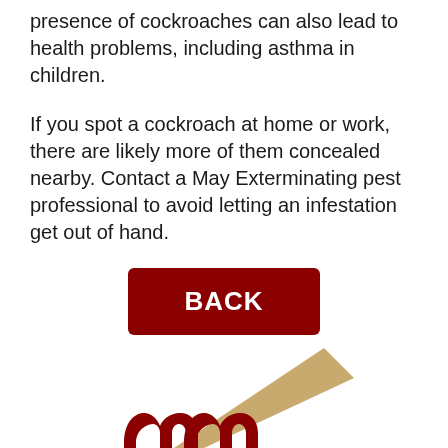presence of cockroaches can also lead to health problems, including asthma in children.
If you spot a cockroach at home or work, there are likely more of them concealed nearby. Contact a May Exterminating pest professional to avoid letting an infestation get out of hand.
[Figure (other): Dark red button with white text 'BACK' with rounded corners]
[Figure (logo): Partial view of May Exterminating logo at bottom: dark red stylized 'm' letters with a tan/gold diagonal arrow/pen shape pointing upper right]